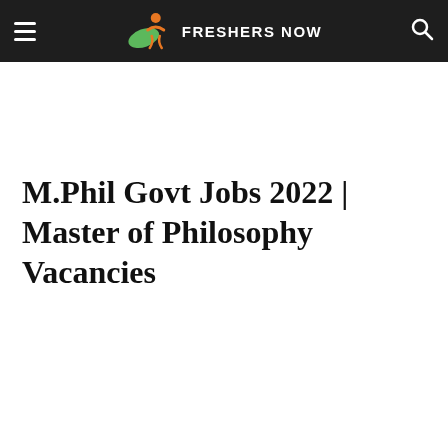FRESHERS NOW
M.Phil Govt Jobs 2022 | Master of Philosophy Vacancies